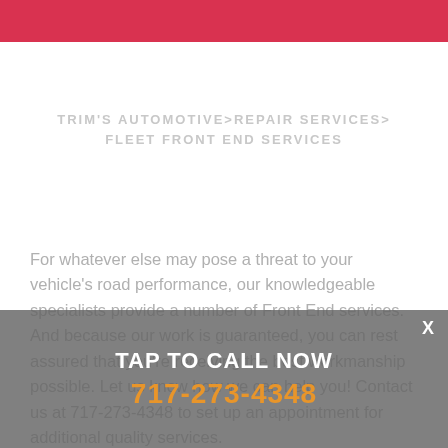TRIM'S AUTOMOTIVE>REPAIR SERVICES> FLEET FRONT END SERVICES
For whatever else may pose a threat to your vehicle's road performance, our knowledgeable specialists provide a number of Front End services. And because our work is guaranteed, you can rest assured that you're receiving the best workmanship possible. Let us know how we can help you! Contact us at 717-273-4348 to set up an appointment for additional quality services.
TAP TO CALL NOW
717-273-4348